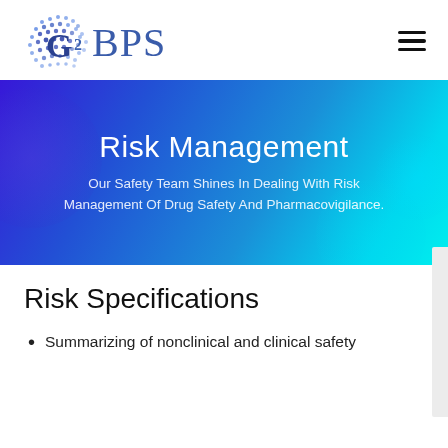[Figure (logo): G2 BPS logo with globe icon made of blue dots and stylized G2 text]
Risk Management
Our Safety Team Shines In Dealing With Risk Management Of Drug Safety And Pharmacovigilance.
Risk Specifications
Summarizing of nonclinical and clinical safety